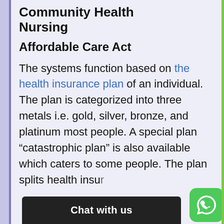Community Health Nursing
Affordable Care Act
The systems function based on the health insurance plan of an individual. The plan is categorized into three metals i.e. gold, silver, bronze, and platinum most people. A special plan “catastrophic plan” is also available which caters to some people. The plan splits health insu...